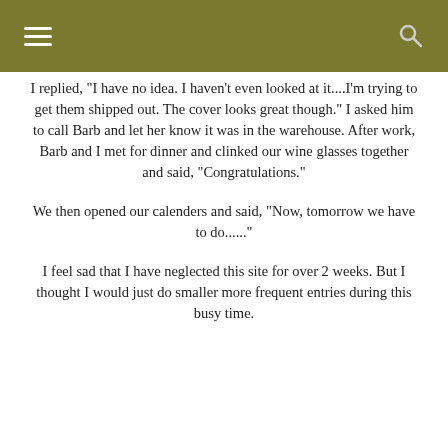≡  🔍
I replied, "I have no idea. I haven't even looked at it....I'm trying to get them shipped out. The cover looks great though." I asked him to call Barb and let her know it was in the warehouse. After work, Barb and I met for dinner and clinked our wine glasses together and said, "Congratulations."
We then opened our calenders and said, "Now, tomorrow we have to do......"
I feel sad that I have neglected this site for over 2 weeks. But I thought I would just do smaller more frequent entries during this busy time.